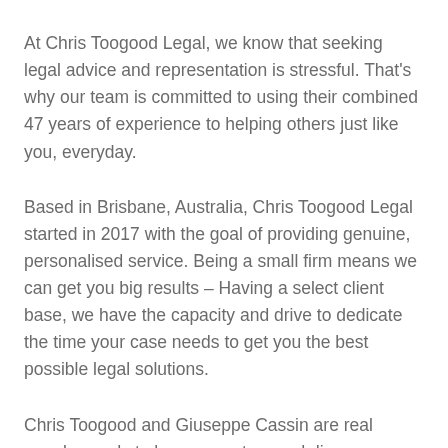At Chris Toogood Legal, we know that seeking legal advice and representation is stressful. That's why our team is committed to using their combined 47 years of experience to helping others just like you, everyday.
Based in Brisbane, Australia, Chris Toogood Legal started in 2017 with the goal of providing genuine, personalised service. Being a small firm means we can get you big results – Having a select client base, we have the capacity and drive to dedicate the time your case needs to get you the best possible legal solutions.
Chris Toogood and Giuseppe Cassin are real people, ready to hear your story and discuss your